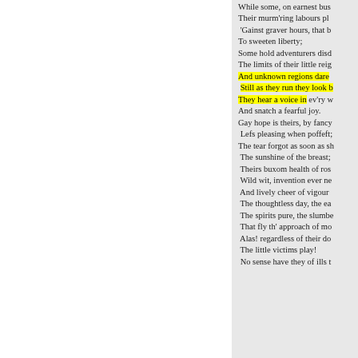While some, on earnest bus
Their murm'ring labours pl
'Gainst graver hours, that b
To sweeten liberty;
Some hold adventurers disd
The limits of their little reig
And unknown regions dare
Still as they run they look b
They hear a voice in ev'ry w
And snatch a fearful joy.
Gay hope is theirs, by fancy
Lefs pleasing when poffeft;
The tear forgot as soon as sh
The sunshine of the breast;
Theirs buxom health of ros
Wild wit, invention ever ne
And lively cheer of vigour
The thoughtless day, the ea
The spirits pure, the slumbe
That fly th' approach of mo
Alas! regardless of their do
The little victims play!
No sense have they of ills t